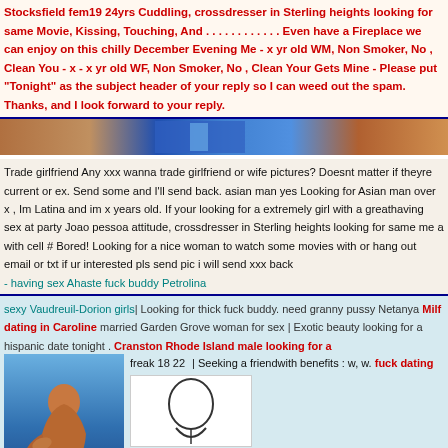Stocksfield fem19 24yrs Cuddling, crossdresser in Sterling heights looking for same Movie, Kissing, Touching, And . . . . . . . . . . . . Even have a Fireplace we can enjoy on this chilly December Evening Me - x yr old WM, Non Smoker, No , Clean You - x - x yr old WF, Non Smoker, No , Clean Your Gets Mine - Please put "Tonight" as the subject header of your reply so I can weed out the spam. Thanks, and I look forward to your reply.
[Figure (photo): Banner image with colorful background showing partial faces/images]
Trade girlfriend Any xxx wanna trade girlfriend or wife pictures? Doesnt matter if theyre current or ex. Send some and I'll send back. asian man yes Looking for Asian man over x , Im Latina and im x years old. If your looking for a extremely girl with a greathaving sex at party Joao pessoa attitude, crossdresser in Sterling heights looking for same me a with cell # Bored! Looking for a nice woman to watch some movies with or hang out email or txt if ur interested pls send pic i will send xxx back
- having sex Ahaste fuck buddy Petrolina
sexy Vaudreuil-Dorion girls| Looking for thick fuck buddy. need granny pussy Netanya Milf dating in Caroline married Garden Grove woman for sex | Exotic beauty looking for a hispanic date tonight . Cranston Rhode Island male looking for a
[Figure (photo): Photo of a woman in a blue water scene]
freak 18 22 | Seeking a friendwith benefits : w, w. fuck dating